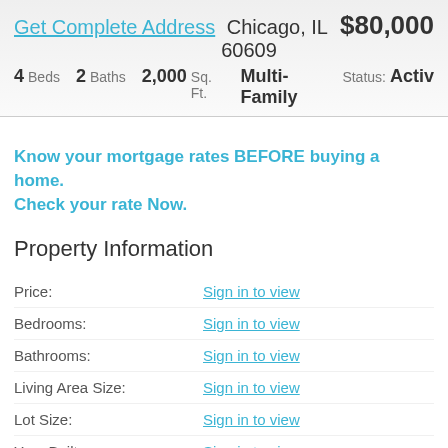Get Complete Address Chicago, IL 60609 $80,000 4 Beds 2 Baths 2,000 Sq. Ft. Multi-Family Status: Active
Know your mortgage rates BEFORE buying a home. Check your rate Now.
Property Information
| Field | Value |
| --- | --- |
| Price: | Sign in to view |
| Bedrooms: | Sign in to view |
| Bathrooms: | Sign in to view |
| Living Area Size: | Sign in to view |
| Lot Size: | Sign in to view |
| Year Built: | Sign in to view |
| Comments: | Sign in to view |
| Additional Info Link: | Sign in to view |
| Source ID: | Sign in to view |